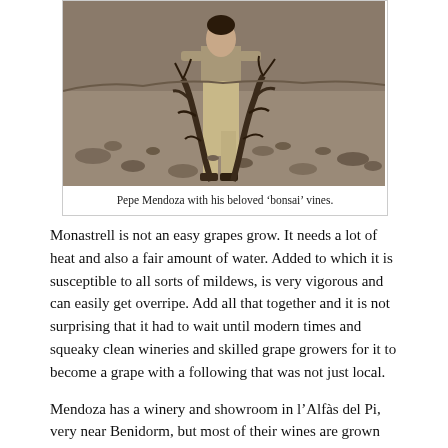[Figure (photo): A person standing among old gnarled 'bonsai' vines in a rocky, dry terrain. The vines are low to the ground with bare, twisted branches. The person is wearing khaki/beige trousers and dark shoes.]
Pepe Mendoza with his beloved 'bonsai' vines.
Monastrell is not an easy grapes grow. It needs a lot of heat and also a fair amount of water. Added to which it is susceptible to all sorts of mildews, is very vigorous and can easily get overripe. Add all that together and it is not surprising that it had to wait until modern times and squeaky clean wineries and skilled grape growers for it to become a grape with a following that was not just local.
Mendoza has a winery and showroom in l'Alfàs del Pi, very near Benidorm, but most of their wines are grown around 60 km...